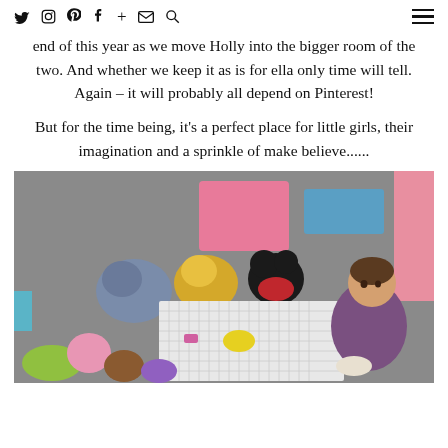Twitter Instagram Pinterest Facebook + Email Search [hamburger menu]
end of this year as we move Holly into the bigger room of the two. And whether we keep it as is for ella only time will tell. Again – it will probably all depend on Pinterest!
But for the time being, it's a perfect place for little girls, their imagination and a sprinkle of make believe......
[Figure (photo): Young girl sitting on floor surrounded by stuffed animals (Eeyore, Winnie the Pooh, Mickey Mouse) and scattered toy kitchen/tea set items on a playmat, viewed from above. Room has grey carpet and pink furniture visible.]